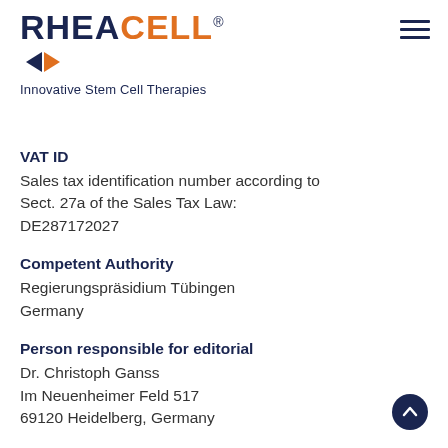[Figure (logo): RHEACELL logo with orange CELL text, navy RHEA text, double-arrow icon, and tagline 'Innovative Stem Cell Therapies']
VAT ID
Sales tax identification number according to Sect. 27a of the Sales Tax Law:
DE287172027
Competent Authority
Regierungspräsidium Tübingen
Germany
Person responsible for editorial
Dr. Christoph Ganss
Im Neuenheimer Feld 517
69120 Heidelberg, Germany